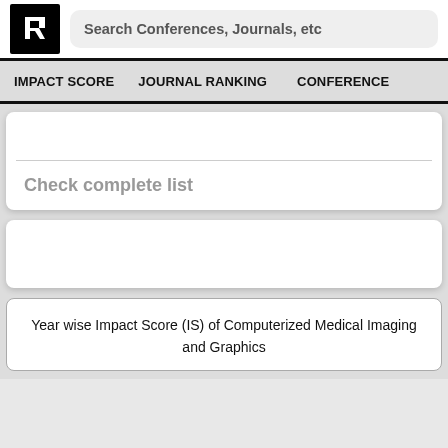[Figure (logo): Research ranking website logo — black square with white 'R' arrow icon]
Search Conferences, Journals, etc
IMPACT SCORE   JOURNAL RANKING   CONFERENCE
Check complete list
Year wise Impact Score (IS) of Computerized Medical Imaging and Graphics